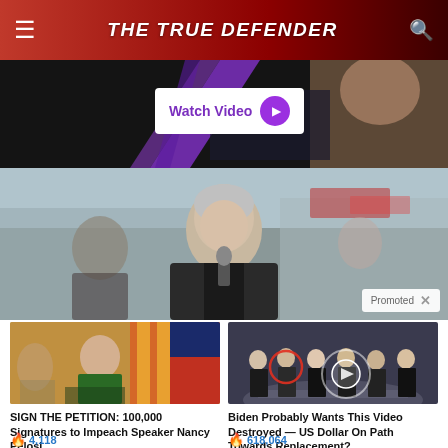THE TRUE DEFENDER
[Figure (screenshot): Video advertisement banner with Watch Video button on dark background with purple shapes]
[Figure (photo): Hero photo of a man speaking at a microphone at an outdoor event with a crowd behind him. Promoted label visible in bottom right corner.]
[Figure (photo): Thumbnail of Nancy Pelosi in green jacket in front of American flags at a press conference]
SIGN THE PETITION: 100,000 Signatures to Impeach Speaker Nancy Pelosi
4,118
[Figure (photo): Thumbnail of group of men in suits standing in front of CIA seal on the floor, with red circle highlighting one person]
Biden Probably Wants This Video Destroyed — US Dollar On Path Towards Replacement?
618,064